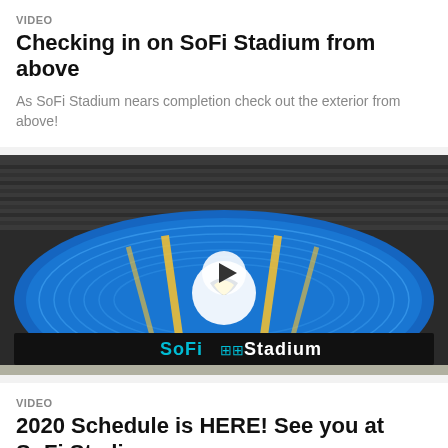VIDEO
Checking in on SoFi Stadium from above
As SoFi Stadium nears completion check out the exterior from above!
[Figure (photo): Aerial video thumbnail of SoFi Stadium interior showing the LED halo board with the LA Rams logo and SoFi Stadium branding, with a play button overlay]
VIDEO
2020 Schedule is HERE! See you at SoFi Stadium